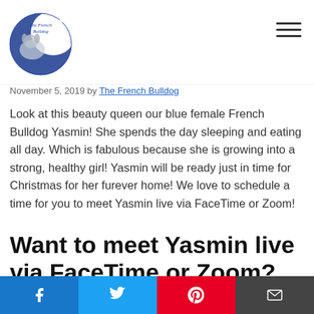The French Bulldog (logo + navigation)
November 5, 2019 by The French Bulldog
Look at this beauty queen our blue female French Bulldog Yasmin! She spends the day sleeping and eating all day. Which is fabulous because she is growing into a strong, healthy girl! Yasmin will be ready just in time for Christmas for her furever home! We love to schedule a time for you to meet Yasmin live via FaceTime or Zoom!
Want to meet Yasmin live via FaceTime or Zoom?
Social share bar: Facebook, Twitter, Pinterest, Email